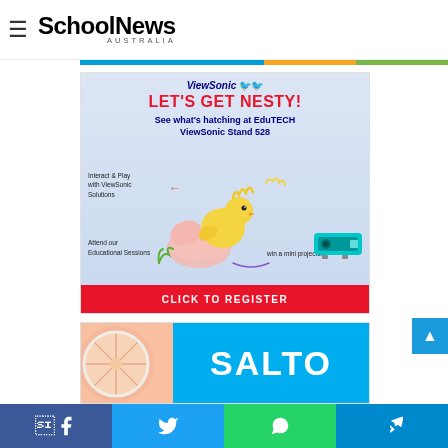SchoolNews AUSTRALIA
[Figure (advertisement): ViewSonic advertisement: LET'S GET NESTY! See what's hatching at EduTECH ViewSonic Stand 528. Interact & Play with ViewSonic Solutions. Attend our Educational Sessions. Win a mini projector. CLICK TO REGISTER]
[Figure (advertisement): SALTO advertisement with grapefruit image and blue background]
Facebook | Twitter | WhatsApp | Telegram social share buttons